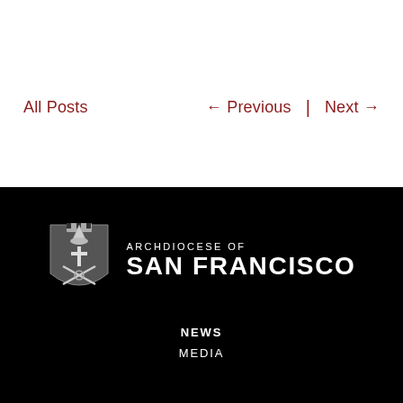All Posts
← Previous  |  Next →
[Figure (logo): Archdiocese of San Francisco crest/shield logo in grayscale with bishop's mitre and cross]
ARCHDIOCESE OF SAN FRANCISCO
NEWS
MEDIA